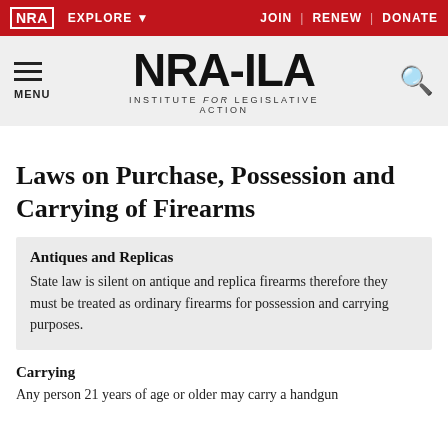NRA EXPLORE ▾  JOIN | RENEW | DONATE
[Figure (logo): NRA-ILA logo with hamburger menu, NRA-ILA wordmark (Institute for Legislative Action), and search icon on gray background]
Laws on Purchase, Possession and Carrying of Firearms
Antiques and Replicas
State law is silent on antique and replica firearms therefore they must be treated as ordinary firearms for possession and carrying purposes.
Carrying
Any person 21 years of age or older may carry a handgun